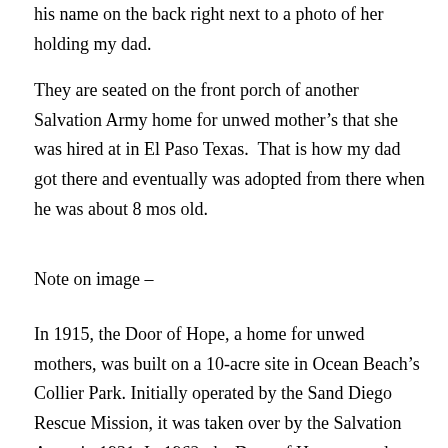his name on the back right next to a photo of her holding my dad.
They are seated on the front porch of another Salvation Army home for unwed mother’s that she was hired at in El Paso Texas.  That is how my dad got there and eventually was adopted from there when he was about 8 mos old.
Note on image –
In 1915, the Door of Hope, a home for unwed mothers, was built on a 10-acre site in Ocean Beach’s Collier Park. Initially operated by the Sand Diego Rescue Mission, it was taken over by the Salvation Army in 1931. In 1962, the Door of Hope moved to a much larger facility in Kearny Mesa.